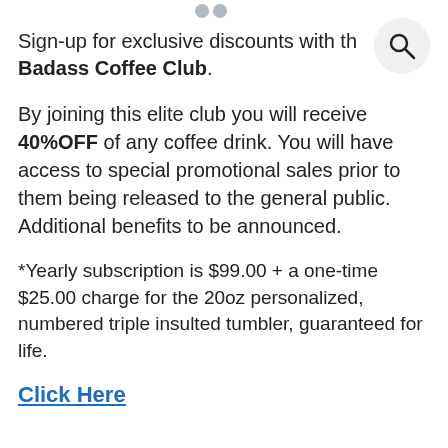[Figure (other): Two small grey quotation mark dots at the top center of the page]
Sign-up for exclusive discounts with the Badass Coffee Club.
By joining this elite club you will receive 40%OFF of any coffee drink. You will have access to special promotional sales prior to them being released to the general public. Additional benefits to be announced.
*Yearly subscription is $99.00 + a one-time $25.00 charge for the 20oz personalized, numbered triple insulted tumbler, guaranteed for life.
Click Here